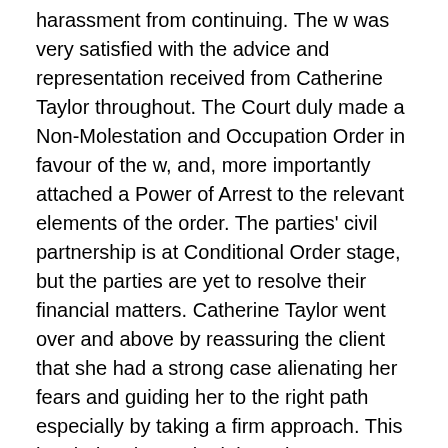harassment from continuing. The w was very satisfied with the advice and representation received from Catherine Taylor throughout. The Court duly made a Non-Molestation and Occupation Order in favour of the w, and, more importantly attached a Power of Arrest to the relevant elements of the order. The parties' civil partnership is at Conditional Order stage, but the parties are yet to resolve their financial matters. Catherine Taylor went over and above by reassuring the client that she had a strong case alienating her fears and guiding her to the right path especially by taking a firm approach. This has led to the w obtaining a better outcome than expected in her case first of all ensuring the w is safe and that the Respondent is prevented from future harming the w thus giving the w the utmost security to continue enjoying her life.
The client said that she cli...